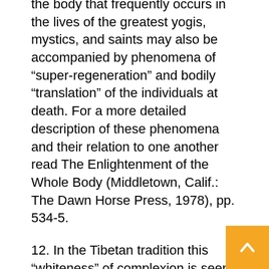the body that frequently occurs in the lives of the greatest yogis, mystics, and saints may also be accompanied by phenomena of “super-regeneration” and bodily “translation” of the individuals at death. For a more detailed description of these phenomena and their relation to one another read The Enlightenment of the Whole Body (Middletown, Calif.: The Dawn Horse Press, 1978), pp. 534-5.
12. In the Tibetan tradition this “whiteness” of complexion is seen as a most auspicious sign in the regenerated corpse of an advanced practitioner. The qualities described here are quite common, regardless of the particular tradition to which the adept belongs. For example, the biographer of St. Francis of Assisi, Celano, noted that the deceased saint’s facial skin became more pliable and soft, like a newborn’, and that his regularly “dark complexion